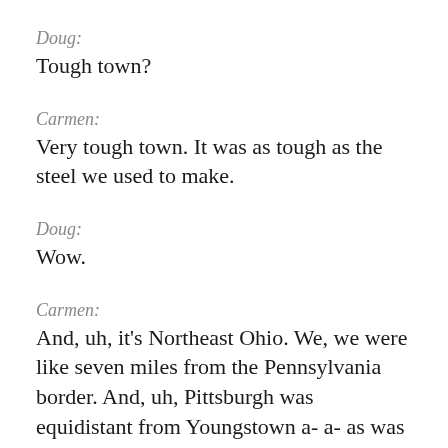Doug:
Tough town?
Carmen:
Very tough town. It was as tough as the steel we used to make.
Doug:
Wow.
Carmen:
And, uh, it's Northeast Ohio. We, we were like seven miles from the Pennsylvania border. And, uh, Pittsburgh was equidistant from Youngstown a- a- as was Cleveland.